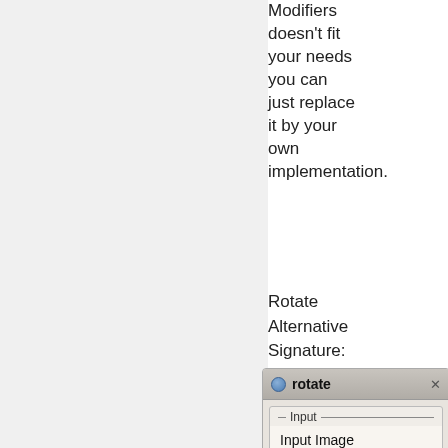Modifiers doesn't fit your needs you can just replace it by your own implementation.
Rotate Alternative Signature:
[Figure (screenshot): A GUI widget dialog titled 'rotate' with a blue dot and close button. Shows Input section with fields: Input Image, Rotation Angle, Interpolation, Sub-sampling Bits. Below is an output section showing 'result: not available'.]